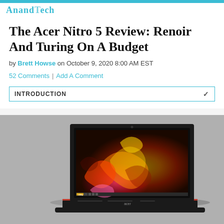AnandTech
The Acer Nitro 5 Review: Renoir And Turing On A Budget
by Brett Howse on October 9, 2020 8:00 AM EST
52 Comments | Add A Comment
INTRODUCTION
[Figure (photo): Acer Nitro 5 gaming laptop open, displaying a fiery abstract orange and red wallpaper on screen, with red accent trim on the base, photographed against a grey background.]